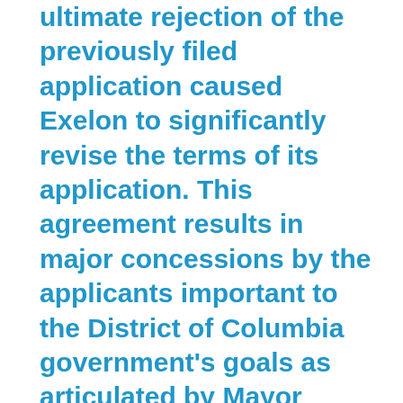ultimate rejection of the previously filed application caused Exelon to significantly revise the terms of its application. This agreement results in major concessions by the applicants important to the District of Columbia government's goals as articulated by Mayor Muriel Bowser, consumers, and OPC, such as immediate rate relief, firm and trackable reliability commitments, low-income consumer protections and local jobs. Taken as a whole, this agreement is by far a better deal for District ratepayers than anything previously proposed. The bottom line is that this deal will translate into real benefits for everyday consumers, particularly those in underserved communities. Importantly, the proposal also promotes major renewable and sustainable energy policies and